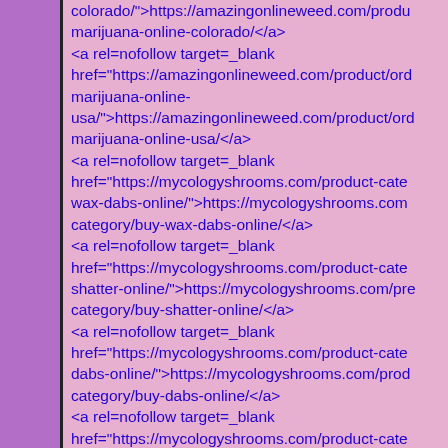colorado/">https://amazingonlineweed.com/produ...marijuana-online-colorado/</a> <a rel=nofollow target=_blank href="https://amazingonlineweed.com/product/ord...marijuana-online-usa/">https://amazingonlineweed.com/product/ord...marijuana-online-usa/</a> <a rel=nofollow target=_blank href="https://mycologyshrooms.com/product-cate...wax-dabs-online/">https://mycologyshrooms.com...category/buy-wax-dabs-online/</a> <a rel=nofollow target=_blank href="https://mycologyshrooms.com/product-cate...shatter-online/">https://mycologyshrooms.com/pre...category/buy-shatter-online/</a> <a rel=nofollow target=_blank href="https://mycologyshrooms.com/product-cate...dabs-online/">https://mycologyshrooms.com/prod...category/buy-dabs-online/</a> <a rel=nofollow target=_blank href="https://mycologyshrooms.com/product-cate...dmt-online/">https://mycologyshrooms.com/produ...category/buy-dmt-online/</a> <a rel=nofollow target=_blank href="https://mycologyshrooms.com/product-cate...